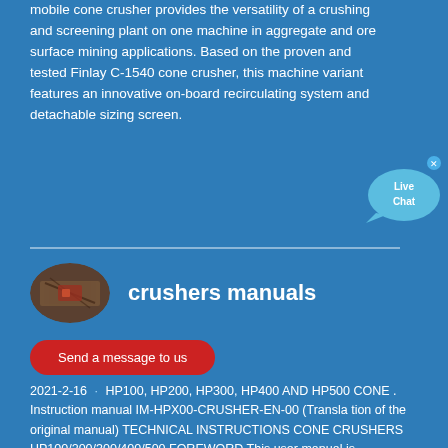mobile cone crusher provides the versatility of a crushing and screening plant on one machine in aggregate and ore surface mining applications. Based on the proven and tested Finlay C-1540 cone crusher, this machine variant features an innovative on-board recirculating system and detachable sizing screen.
[Figure (illustration): Live Chat speech bubble icon in light blue on the right side]
[Figure (photo): Oval thumbnail photo of a crusher machine]
crushers manuals
Send a message to us
2021-2-16 · HP100, HP200, HP300, HP400 AND HP500 CONE . Instruction manual IM-HPX00-CRUSHER-EN-00 (Transla tion of the original manual) TECHNICAL INSTRUCTIONS CONE CRUSHERS HP100/200/300/400/500 FOREWORD This user manual is designed to allow owners and